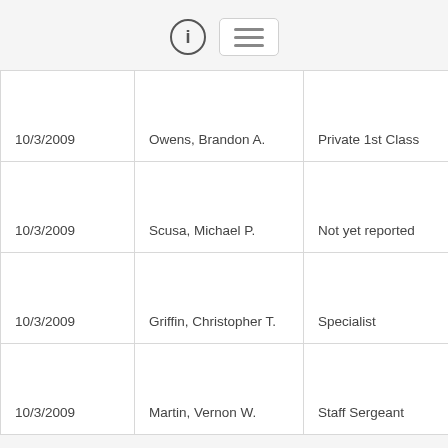[Figure (other): Info icon (circled i) and hamburger menu button in page header]
| 10/3/2009 | Owens, Brandon A. | Private 1st Class | United States |
| 10/3/2009 | Scusa, Michael P. | Not yet reported | United States |
| 10/3/2009 | Griffin, Christopher T. | Specialist | United States |
| 10/3/2009 | Martin, Vernon W. | Staff Sergeant | United States |